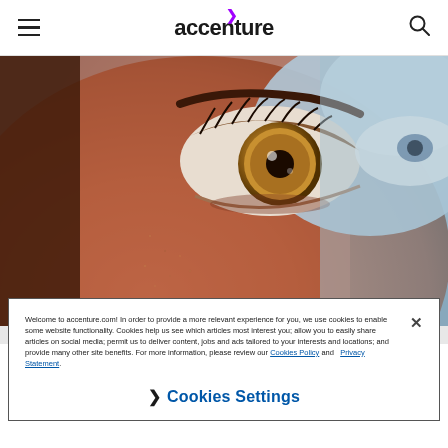accenture
[Figure (photo): Close-up macro photograph of a human eye with amber/brown iris, showing detailed skin texture of nose and cheek, with blurred sky background]
Welcome to accenture.com! In order to provide a more relevant experience for you, we use cookies to enable some website functionality. Cookies help us see which articles most interest you; allow you to easily share articles on social media; permit us to deliver content, jobs and ads tailored to your interests and locations; and provide many other site benefits. For more information, please review our Cookies Policy and Privacy Statement.
❯ Cookies Settings